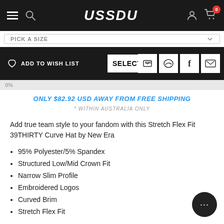USSDU
PICK A SIZE
ADD TO WISH LIST   SELECT S...
0%
ONLY $82.92 USD AWAY FROM FREE SHIPPING
* WITHIN AUSTRALIA ONLY
Add true team style to your fandom with this Stretch Flex Fit 39THIRTY Curve Hat by New Era
95% Polyester/5% Spandex
Structured Low/Mid Crown Fit
Narrow Slim Profile
Embroidered Logos
Curved Brim
Stretch Flex Fit